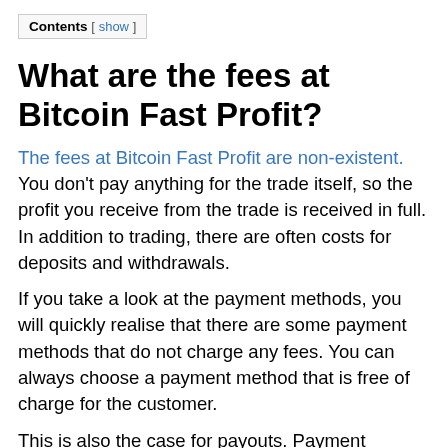Contents [ show ]
What are the fees at Bitcoin Fast Profit?
The fees at Bitcoin Fast Profit are non-existent. You don't pay anything for the trade itself, so the profit you receive from the trade is received in full. In addition to trading, there are often costs for deposits and withdrawals.
If you take a look at the payment methods, you will quickly realise that there are some payment methods that do not charge any fees. You can always choose a payment method that is free of charge for the customer.
This is also the case for payouts. Payment methods such as Paypal are always free of charge, so we can also